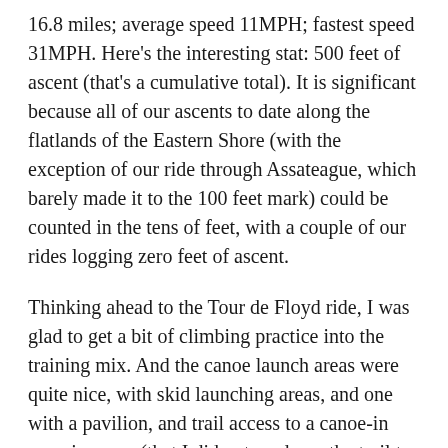16.8 miles; average speed 11MPH; fastest speed 31MPH. Here's the interesting stat: 500 feet of ascent (that's a cumulative total). It is significant because all of our ascents to date along the flatlands of the Eastern Shore (with the exception of our ride through Assateague, which barely made it to the 100 feet mark) could be counted in the tens of feet, with a couple of our rides logging zero feet of ascent.
Thinking ahead to the Tour de Floyd ride, I was glad to get a bit of climbing practice into the training mix. And the canoe launch areas were quite nice, with skid launching areas, and one with a pavilion, and trail access to a canoe-in camping area (that I did not go down the trail to visit). Launch area A even had boat racks and trailer parking.